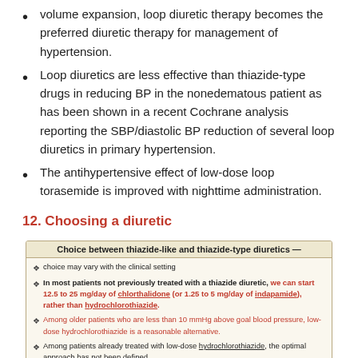volume expansion, loop diuretic therapy becomes the preferred diuretic therapy for management of hypertension.
Loop diuretics are less effective than thiazide-type drugs in reducing BP in the nonedematous patient as has been shown in a recent Cochrane analysis reporting the SBP/diastolic BP reduction of several loop diuretics in primary hypertension.
The antihypertensive effect of low-dose loop torasemide is improved with nighttime administration.
12. Choosing a diuretic
| Choice between thiazide-like and thiazide-type diuretics — |
| --- |
| choice may vary with the clinical setting |
| In most patients not previously treated with a thiazide diuretic, we can start 12.5 to 25 mg/day of chlorthalidone (or 1.25 to 5 mg/day of indapamide), rather than hydrochlorothiazide. |
| Among older patients who are less than 10 mmHg above goal blood pressure, low-dose hydrochlorothiazide is a reasonable alternative. |
| Among patients already treated with low-dose hydrochlorothiazide, the optimal approach has not been defined. |